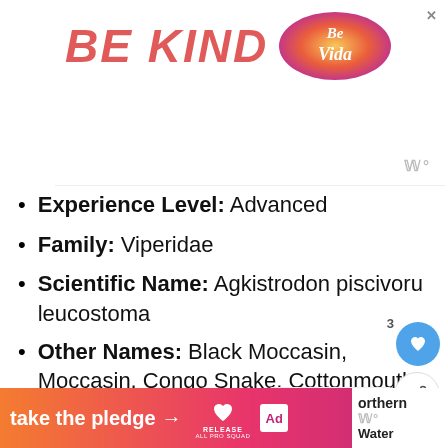[Figure (illustration): Advertisement banner with 'BE KIND' text in red-pink italic letters and a decorative 'Be Vida' logo graphic on the right, with an X close button]
Experience Level: Advanced
Family: Viperidae
Scientific Name: Agkistrodon piscivorus leucostoma
Other Names: Black Moccasin, Moccasin, Congo Snake, Cottonmouth,
[Figure (infographic): Bottom orange-to-pink gradient banner reading 'take the pledge →' with Release logo and ad indicator icons]
[Figure (infographic): What's Next box showing 'Snakes in Missouri' with a green snake image thumbnail]